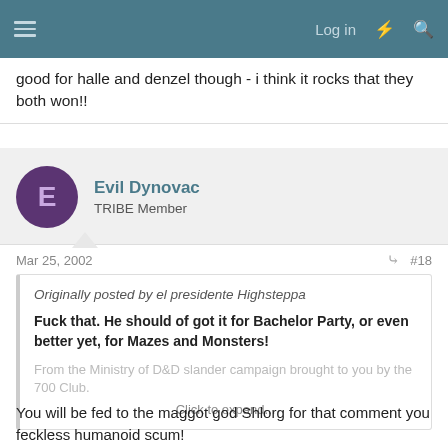Log in
good for halle and denzel though - i think it rocks that they both won!!
Evil Dynovac
TRIBE Member
Mar 25, 2002  #18
Originally posted by el presidente Highsteppa

Fuck that. He should of got it for Bachelor Party, or even better yet, for Mazes and Monsters!

From the Ministry of D&D slander campaign brought to you by the 700 Club.

Click to expand...
You will be fed to the maggot god Shlorg for that comment you feckless humanoid scum!